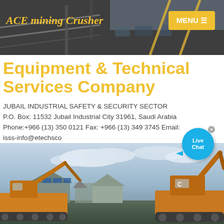ACE mining Crusher
[Figure (photo): Mining/industrial site header banner with conveyor structures]
Equipment & Technical Services Company
JUBAIL INDUSTRIAL SAFETY & SECURITY SECTOR P.O. Box: 11532 Jubail Industrial City 31961, Saudi Arabia Phone:+966 (13) 350 0121 Fax: +966 (13) 349 3745 Email: isss-info@etechsco
Contact us
[Figure (photo): Construction excavators/heavy machinery on a job site with cloudy sky]